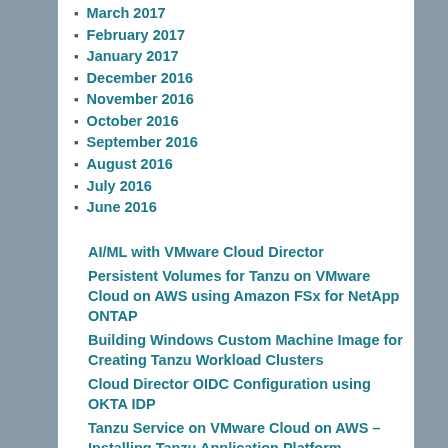March 2017
February 2017
January 2017
December 2016
November 2016
October 2016
September 2016
August 2016
July 2016
June 2016
AI/ML with VMware Cloud Director
Persistent Volumes for Tanzu on VMware Cloud on AWS using Amazon FSx for NetApp ONTAP
Building Windows Custom Machine Image for Creating Tanzu Workload Clusters
Cloud Director OIDC Configuration using OKTA IDP
Tanzu Service on VMware Cloud on AWS – Installing Tanzu Application Platform